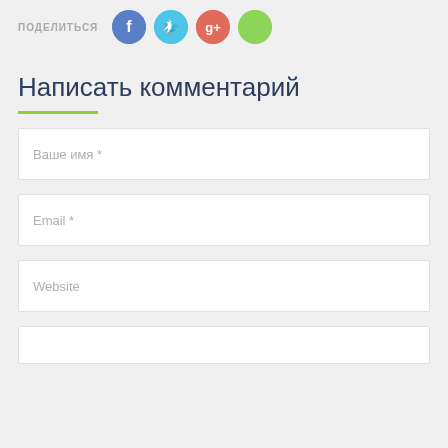[Figure (infographic): Social share icons row: ПОДЕЛИТЬСЯ label followed by Facebook (blue circle), Twitter (light blue circle), Google+ (red circle), and a green circle icon]
Написать комментарий
Ваше имя *
Email *
Website